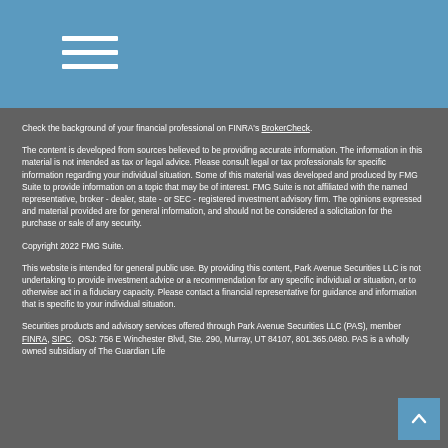Check the background of your financial professional on FINRA's BrokerCheck.
The content is developed from sources believed to be providing accurate information. The information in this material is not intended as tax or legal advice. Please consult legal or tax professionals for specific information regarding your individual situation. Some of this material was developed and produced by FMG Suite to provide information on a topic that may be of interest. FMG Suite is not affiliated with the named representative, broker - dealer, state - or SEC - registered investment advisory firm. The opinions expressed and material provided are for general information, and should not be considered a solicitation for the purchase or sale of any security.
Copyright 2022 FMG Suite.
This website is intended for general public use. By providing this content, Park Avenue Securities LLC is not undertaking to provide investment advice or a recommendation for any specific individual or situation, or to otherwise act in a fiduciary capacity. Please contact a financial representative for guidance and information that is specific to your individual situation.
Securities products and advisory services offered through Park Avenue Securities LLC (PAS), member FINRA, SIPC.  OSJ: 756 E Winchester Blvd, Ste. 290, Murray, UT 84107, 801.365.0480. PAS is a wholly owned subsidiary of The Guardian Life